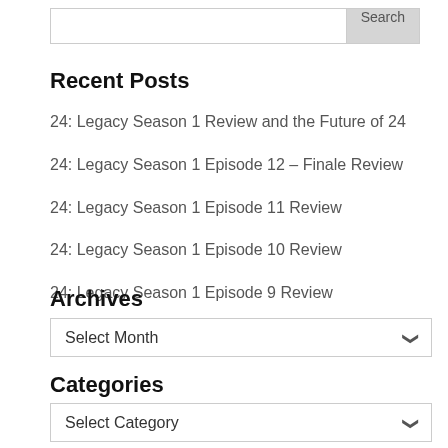Recent Posts
24: Legacy Season 1 Review and the Future of 24
24: Legacy Season 1 Episode 12 – Finale Review
24: Legacy Season 1 Episode 11 Review
24: Legacy Season 1 Episode 10 Review
24: Legacy Season 1 Episode 9 Review
Archives
Select Month
Categories
Select Category